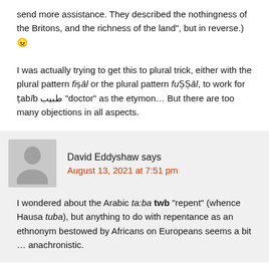send more assistance. They described the nothingness of the Britons, and the richness of the land", but in reverse.) 😠
I was actually trying to get this to plural trick, either with the plural pattern fiṣāl or the plural pattern fuṢṢāl, to work for ṭabīb طبيب "doctor" as the etymon… But there are too many objections in all aspects.
David Eddyshaw says
August 13, 2021 at 7:51 pm
I wondered about the Arabic ta:ba twb "repent" (whence Hausa tuba), but anything to do with repentance as an ethnonym bestowed by Africans on Europeans seems a bit … anachronistic.